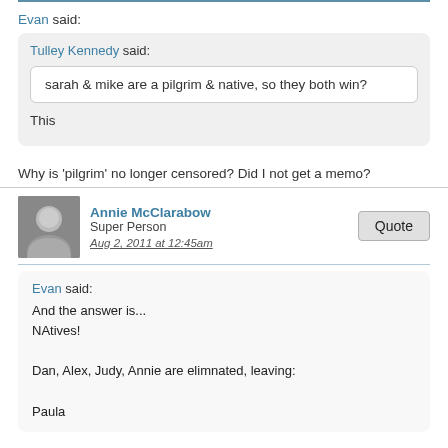Evan said: [quoted block] Tulley Kennedy said: sarah & mike are a pilgrim & native, so they both win? [end quote] This
Why is 'pilgrim' no longer censored? Did I not get a memo?
Annie McClarabow
Super Person
Aug 2, 2011 at 12:45am
Evan said:
And the answer is...
NAtives!

Dan, Alex, Judy, Annie are elimnated, leaving:

Paula